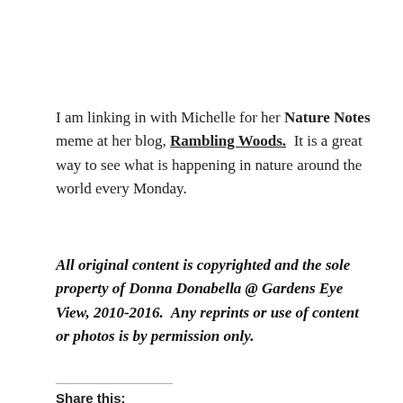I am linking in with Michelle for her Nature Notes meme at her blog, Rambling Woods. It is a great way to see what is happening in nature around the world every Monday.
All original content is copyrighted and the sole property of Donna Donabella @ Gardens Eye View, 2010-2016. Any reprints or use of content or photos is by permission only.
Share this:
Print | Facebook | Twitter | Tumblr | Email | Pinterest | LinkedIn